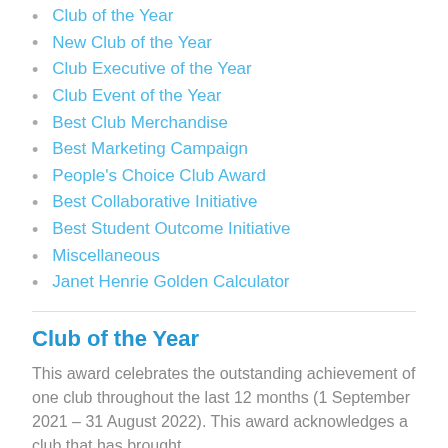Club of the Year
New Club of the Year
Club Executive of the Year
Club Event of the Year
Best Club Merchandise
Best Marketing Campaign
People's Choice Club Award
Best Collaborative Initiative
Best Student Outcome Initiative
Miscellaneous
Janet Henrie Golden Calculator
Club of the Year
This award celebrates the outstanding achievement of one club throughout the last 12 months (1 September 2021 – 31 August 2022). This award acknowledges a club that has brought